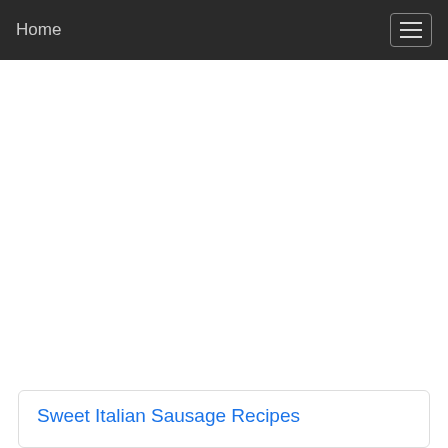Home
Sweet Italian Sausage Recipes